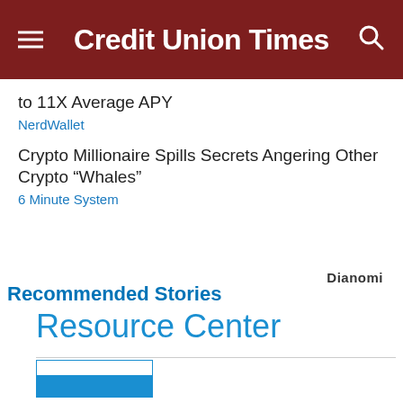Credit Union Times
to 11X Average APY
NerdWallet
Crypto Millionaire Spills Secrets Angering Other Crypto “Whales”
6 Minute System
Dianomi
Recommended Stories
Resource Center
[Figure (other): Resource Center thumbnail image with blue color block]